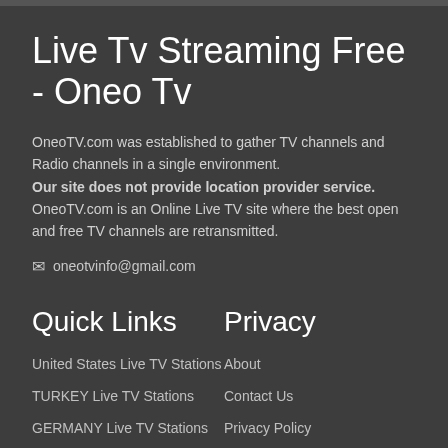Live Tv Streaming Free - Oneo Tv
OneoTV.com was established to gather TV channels and Radio channels in a single environment. Our site does not provide location provider service. OneoTV.com is an Online Live TV site where the best open and free TV channels are retransmitted.
✉ oneotvinfo@gmail.com
Quick Links
Privacy
United States Live TV Stations
About
TURKEY Live TV Stations
Contact Us
GERMANY Live TV Stations
Privacy Policy